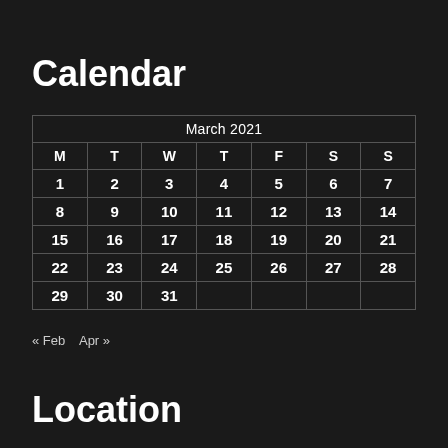Calendar
| M | T | W | T | F | S | S |
| --- | --- | --- | --- | --- | --- | --- |
| 1 | 2 | 3 | 4 | 5 | 6 | 7 |
| 8 | 9 | 10 | 11 | 12 | 13 | 14 |
| 15 | 16 | 17 | 18 | 19 | 20 | 21 |
| 22 | 23 | 24 | 25 | 26 | 27 | 28 |
| 29 | 30 | 31 |  |  |  |  |
« Feb    Apr »
Location